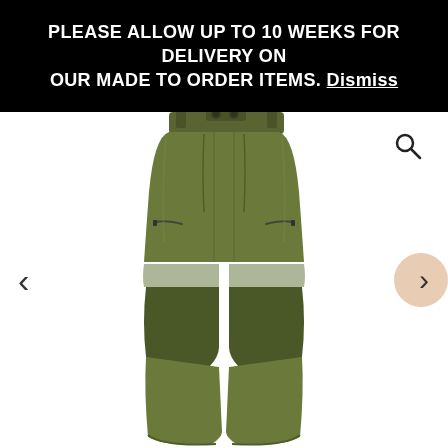PLEASE ALLOW UP TO 10 WEEKS FOR DELIVERY ON OUR MADE TO ORDER ITEMS. Dismiss
[Figure (photo): Olive green women's tactical/hunting trousers with double-button waistband, zipper side pockets at thigh level, and reinforced knee panels. White background product photo.]